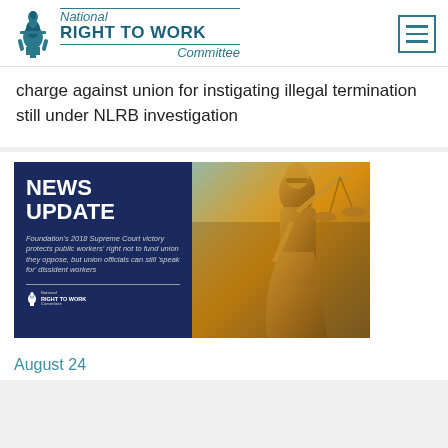National RIGHT TO WORK Committee
charge against union for instigating illegal termination still under NLRB investigation
[Figure (infographic): News Update graphic from National Right to Work Committee showing a split image: left side has dark navy background with bold white text reading NEWS UPDATE and smaller italic text about Foundation's 2018 Supreme Court victory protecting public workers' right not to fund union they oppose, but union officials can still speak for dissident workers; right side shows a bronze statue of Lady Justice holding scales]
August 24